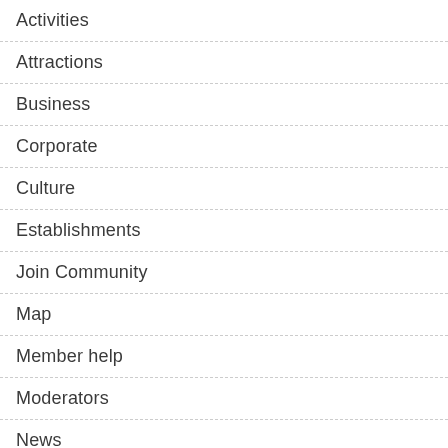Activities
Attractions
Business
Corporate
Culture
Establishments
Join Community
Map
Member help
Moderators
News
Regions
Tartans